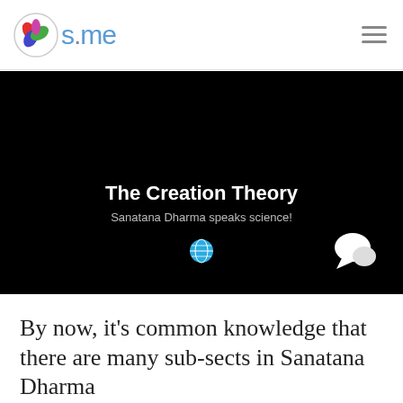os.me
The Creation Theory
Sanatana Dharma speaks science!
By now, it's common knowledge that there are many sub-sects in Sanatana Dharma